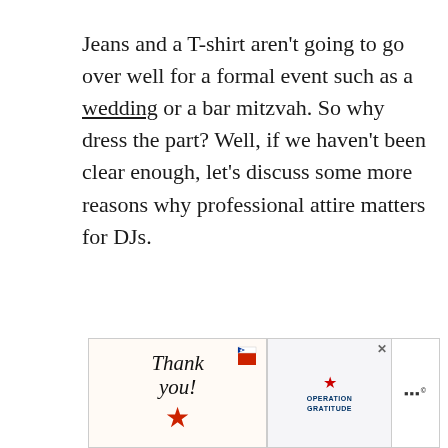Jeans and a T-shirt aren't going to go over well for a formal event such as a wedding or a bar mitzvah. So why dress the part? Well, if we haven't been clear enough, let's discuss some more reasons why professional attire matters for DJs.
[Figure (other): Advertisement banner: 'Thank you' card with American flag star graphic on the left, photo of nurses/healthcare workers in masks holding cards in the middle, Operation Gratitude logo in the right section, 3M logo on far right. Close X button visible.]